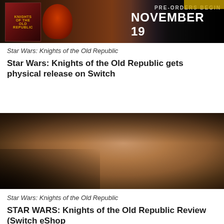[Figure (photo): Star Wars: Knights of the Old Republic promotional image showing game cover art on left with red/dark background and 'PRE-ORDERS BEGIN NOVEMBER 19' text on right]
Star Wars: Knights of the Old Republic
Star Wars: Knights of the Old Republic gets physical release on Switch
[Figure (photo): Star Wars: Knights of the Old Republic screenshot showing a close-up of a bald character's face looking downward in dark cinematic lighting]
Star Wars: Knights of the Old Republic
STAR WARS: Knights of the Old Republic Review (Switch eShop